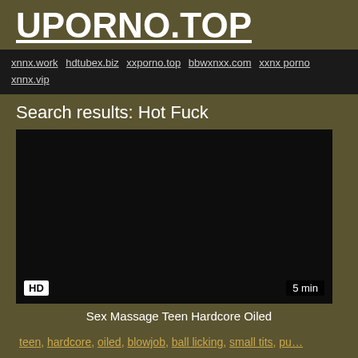UPORNO.TOP
xnnx.work hdtubex.biz xxporno.top bbwxnxx.com xxnx porno xnnx.vip
Search results: Hot Fuck
[Figure (screenshot): Black video thumbnail with HD badge bottom-left and '5 min' badge bottom-right]
Sex Massage Teen Hardcore Oiled
teen, hardcore, oiled, blowjob, ball licking, small tits, pu…